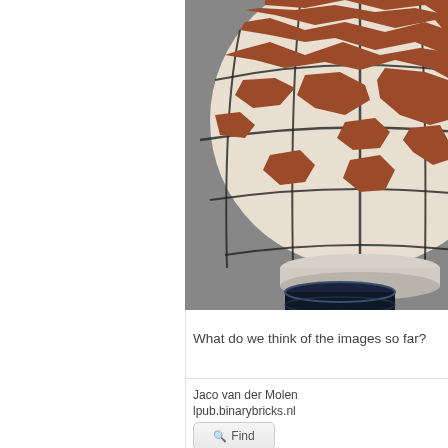[Figure (illustration): A 3D rendered globe showing continents in brownish-red on a cream/white background with black grid lines for latitude/longitude, mounted on a dark navy/black cylindrical base, set against a grey background. The image is cropped showing the bottom portion of the globe.]
What do we think of the images so far?
Jaco van der Molen
lpub.binarybricks.nl
Find